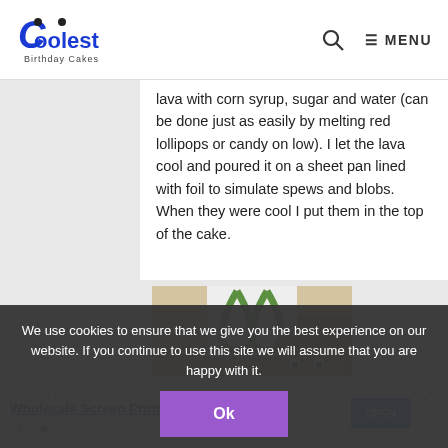Coolest Birthday Cakes — MENU
lava with corn syrup, sugar and water (can be done just as easily by melting red lollipops or candy on low). I let the lava cool and poured it on a sheet pan lined with foil to simulate spews and blobs. When they were cool I put them in the top of the cake.
[Figure (photo): Photo of a young boy looking at a volcano birthday cake with red lava, someone holding a green balloon horseshoe shape above. Watermark: www.coolest-birthday-cakes.com]
We use cookies to ensure that we give you the best experience on our website. If you continue to use this site we will assume that you are happy with it.
Ok
[Figure (other): Advertisement: Screening Supplies Store — Wholesale Screen Print Supply — OPEN button]
When it was time to light the candle I put